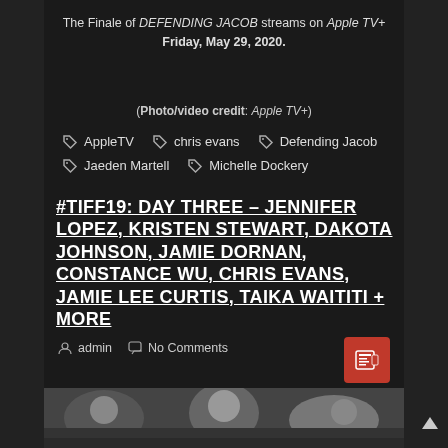The Finale of DEFENDING JACOB streams on Apple TV+ Friday, May 29, 2020.
(Photo/video credit: Apple TV+)
AppleTV
chris evans
Defending Jacob
Jaeden Martell
Michelle Dockery
#TIFF19: DAY THREE – JENNIFER LOPEZ, KRISTEN STEWART, DAKOTA JOHNSON, JAMIE DORNAN, CONSTANCE WU, CHRIS EVANS, JAMIE LEE CURTIS, TAIKA WAITITI + MORE
admin  No Comments
[Figure (photo): Photo strip at bottom showing people at what appears to be a red carpet or outdoor event]